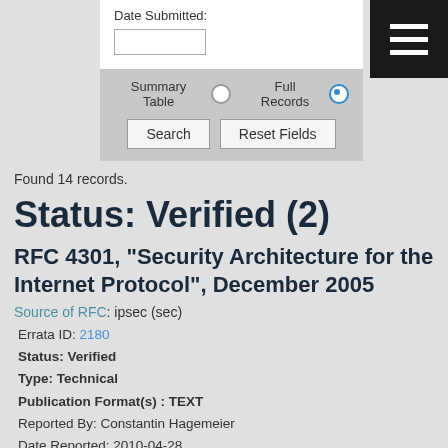Date Submitted:
Summary Table  Full Records
Search   Reset Fields
Found 14 records.
Status: Verified (2)
RFC 4301, "Security Architecture for the Internet Protocol", December 2005
Source of RFC: ipsec (sec)
Errata ID: 2180
Status: Verified
Type: Technical
Publication Format(s) : TEXT
Reported By: Constantin Hagemeier
Date Reported: 2010-04-28